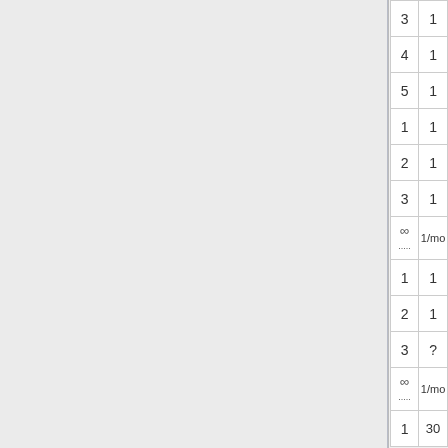[Figure (illustration): Game card image for Advocatus - purple element SSR card showing a winged creature]
Advocatus
[Figure (illustration): Game card image for Diablo - purple element SSR card showing a dark monster]
Diablo
[Figure (illustration): Game card image for Diablo Bow - purple element SSR card showing a red bird/bow weapon]
Diablo Bow
[Figure (illustration): Game card image for Angel Queen - R rarity card with EXP Boost label showing an angel character]
Angel Queen
| Level | Value |
| --- | --- |
| 3 | 1 |
| 4 | 1 |
| 5 | 1 |
| 1 | 1 |
| 2 | 1 |
| 3 | 1 |
| ∞ | 1/mo |
| 1 | 1 |
| 2 | 1 |
| 3 | ? |
| ∞ | 1/mo |
| 1 | 30 |